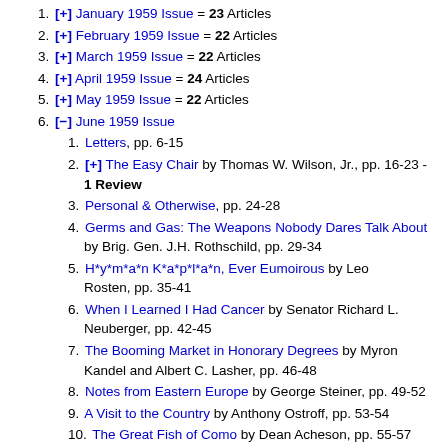1. [+] January 1959 Issue = 23 Articles
2. [+] February 1959 Issue = 22 Articles
3. [+] March 1959 Issue = 22 Articles
4. [+] April 1959 Issue = 24 Articles
5. [+] May 1959 Issue = 22 Articles
6. [-] June 1959 Issue
1. Letters, pp. 6-15
2. [+] The Easy Chair by Thomas W. Wilson, Jr., pp. 16-23 - 1 Review
3. Personal & Otherwise, pp. 24-28
4. Germs and Gas: The Weapons Nobody Dares Talk About by Brig. Gen. J.H. Rothschild, pp. 29-34
5. H*y*m*a*n K*a*p*l*a*n, Ever Eumoirous by Leo Rosten, pp. 35-41
6. When I Learned I Had Cancer by Senator Richard L. Neuberger, pp. 42-45
7. The Booming Market in Honorary Degrees by Myron Kandel and Albert C. Lasher, pp. 46-48
8. Notes from Eastern Europe by George Steiner, pp. 49-52
9. A Visit to the Country by Anthony Ostroff, pp. 53-54
10. The Great Fish of Como by Dean Acheson, pp. 55-57
11. Reading, Writing, and Television by David C. Stewart, pp.